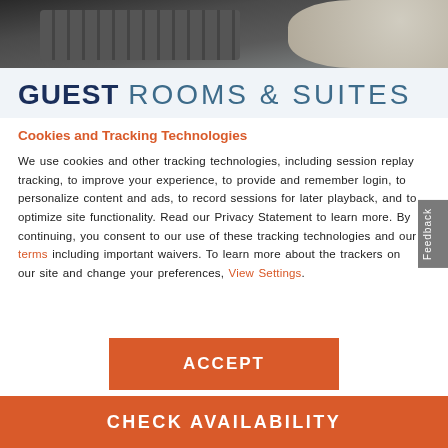[Figure (photo): Top strip showing a laptop keyboard and what appears to be a cat or animal in the upper right corner, dark tones.]
GUEST ROOMS & SUITES
Cookies and Tracking Technologies
We use cookies and other tracking technologies, including session replay tracking, to improve your experience, to provide and remember login, to personalize content and ads, to record sessions for later playback, and to optimize site functionality. Read our Privacy Statement to learn more. By continuing, you consent to our use of these tracking technologies and our terms including important waivers. To learn more about the trackers on our site and change your preferences, View Settings.
ACCEPT
CHECK AVAILABILITY